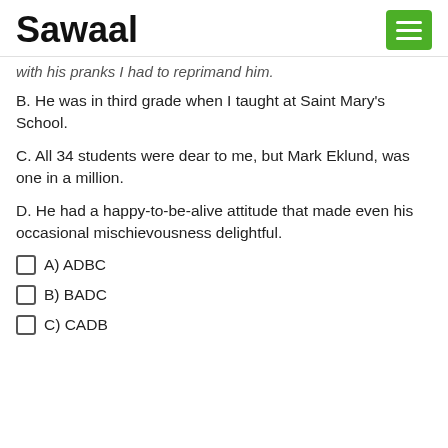Sawaal
with his pranks I had to reprimand him.
B. He was in third grade when I taught at Saint Mary's School.
C. All 34 students were dear to me, but Mark Eklund, was one in a million.
D. He had a happy-to-be-alive attitude that made even his occasional mischievousness delightful.
A) ADBC
B) BADC
C) CADB